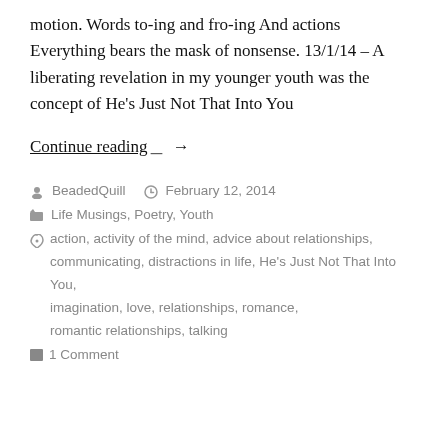motion. Words to-ing and fro-ing And actions Everything bears the mask of nonsense. 13/1/14 – A liberating revelation in my younger youth was the concept of He's Just Not That Into You
Continue reading →
BeadedQuill   February 12, 2014
Life Musings, Poetry, Youth
action, activity of the mind, advice about relationships, communicating, distractions in life, He's Just Not That Into You, imagination, love, relationships, romance, romantic relationships, talking
1 Comment